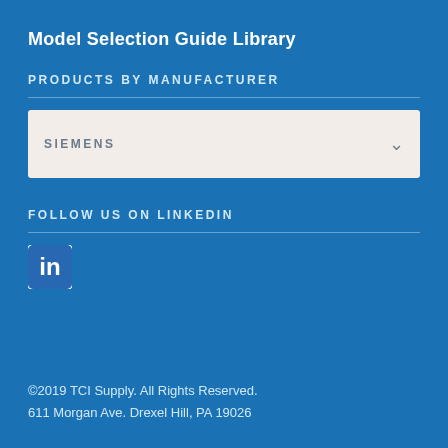Model Selection Guide Library
PRODUCTS BY MANUFACTURER
SIEMENS
FOLLOW US ON LINKEDIN
[Figure (logo): LinkedIn logo icon — white 'in' on blue rounded square background]
©2019 TCI Supply. All Rights Reserved.
611 Morgan Ave. Drexel Hill, PA 19026